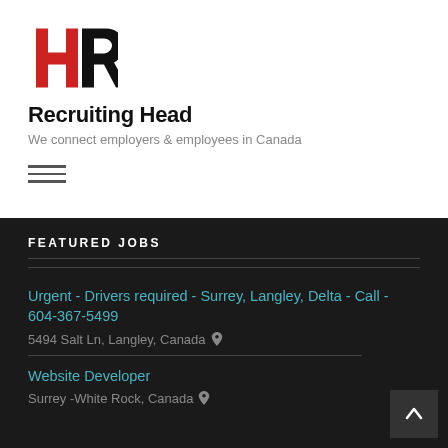[Figure (logo): HR Recruiting Head logo with red H and black R letters stylized]
Recruiting Head
We connect employers & employees in Canada
[Figure (other): Hamburger menu icon with three horizontal lines]
FEATURED JOBS
Urgent - Drivers required - Surrey, Langley, Delta - Call - 604-367-5499
5494 Salt Ln, Langley, Canada
Website Developer
Surrey -White Rock, Canada